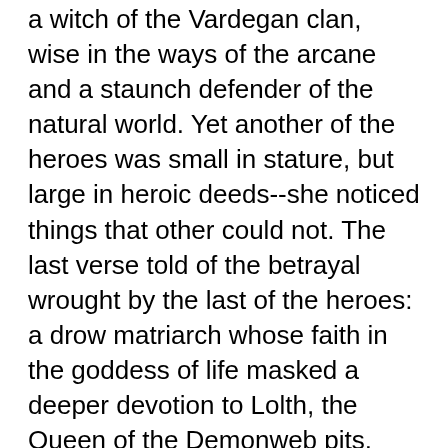a witch of the Vardegan clan, wise in the ways of the arcane and a staunch defender of the natural world. Yet another of the heroes was small in stature, but large in heroic deeds--she noticed things that other could not. The last verse told of the betrayal wrought by the last of the heroes: a drow matriarch whose faith in the goddess of life masked a deeper devotion to Lolth, the Queen of the Demonweb pits. This last hero forestalled victory; through her machinations, she managed to delay the birth of the apocalyptic child until a time more advantageous to Lolth instead of lifting the curse as the group had planned.
The content of the ballad was another strange echo that resembled the individuals assembled in the party, though inexactly, much like the group portrait that had been painted by Donna Pietra Sangino. Al' was also troubled by the last verse, which made him question whether the religion that had been passed down through his family was only a mask that hid